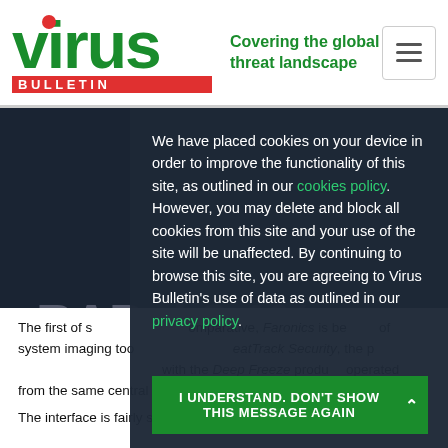[Figure (logo): Virus Bulletin logo with red dot on 'i', green 'virus' text, red 'BULLETIN' bar, and tagline 'Covering the global threat landscape']
We have placed cookies on your device in order to improve the functionality of this site, as outlined in our cookies policy. However, you may delete and block all cookies from this site and your use of the site will be unaffected. By continuing to browse this site, you are agreeing to Virus Bulletin's use of data as outlined in our privacy policy.
I UNDERSTAND. DON'T SHOW THIS MESSAGE AGAIN
The first of several products in this comparative, Faronics is best known as a producer of system imaging tools. In addition to Deep Freeze, its GreatTrack Security, the product being tested, integrates with the Deep Freeze product line, operated from the same central management system.
The interface is fairly simple, unfashy and word-heavy, but